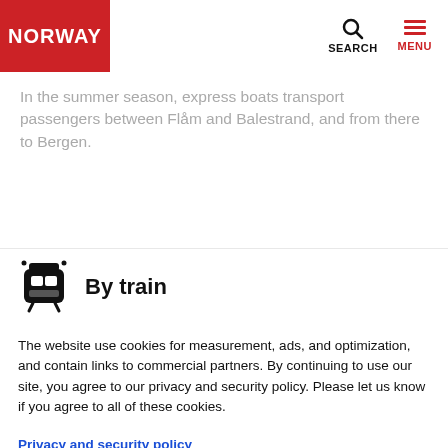NORWAY | SEARCH | MENU
In the summer season, express boats transport passengers between Flåm and Balestrand, and from there to Bergen.
By train
The website use cookies for measurement, ads, and optimization, and contain links to commercial partners. By continuing to use our site, you agree to our privacy and security policy. Please let us know if you agree to all of these cookies.
Privacy and security policy
Required only
Yes, that´s OK!
Edit settings